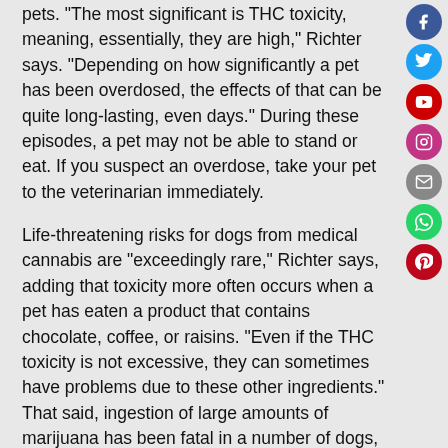pets. "The most significant is THC toxicity, meaning, essentially, they are high," Richter says. "Depending on how significantly a pet has been overdosed, the effects of that can be quite long-lasting, even days." During these episodes, a pet may not be able to stand or eat. If you suspect an overdose, take your pet to the veterinarian immediately.
Life-threatening risks for dogs from medical cannabis are "exceedingly rare," Richter says, adding that toxicity more often occurs when a pet has eaten a product that contains chocolate, coffee, or raisins. "Even if the THC toxicity is not excessive, they can sometimes have problems due to these other ingredients." That said, ingestion of large amounts of marijuana has been fatal in a number of dogs, so preventing overdoses with medical cannabis is still extremely important, warns Dr. Jennifer Coates, a veterinary advisor with petMD.
Graham Quigley, owner and acupuncturist at the Holistic Animal Clinic in San Rafael, California, worries that as the popularity of